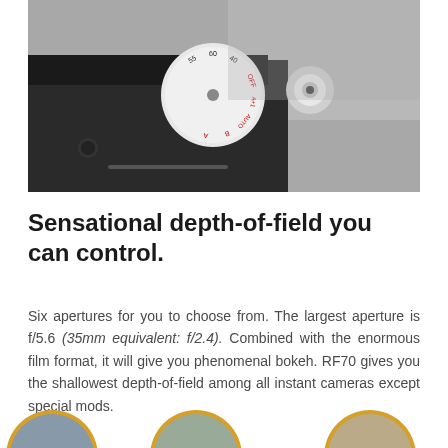[Figure (photo): Close-up black and white photograph of a camera top showing an aperture/exposure dial with markings and a shutter button. The dial shows values like 55, 60, 40, B, A+1, AUTO, B, A on a white knurled wheel against a black camera body.]
Sensational depth-of-field you can control.
Six apertures for you to choose from. The largest aperture is f/5.6 (35mm equivalent: f/2.4). Combined with the enormous film format, it will give you phenomenal bokeh. RF70 gives you the shallowest depth-of-field among all instant cameras except special mods.
[Figure (photo): Three circular thumbnail images partially visible at the bottom of the page with golden/yellow circular borders, showing camera-related imagery.]